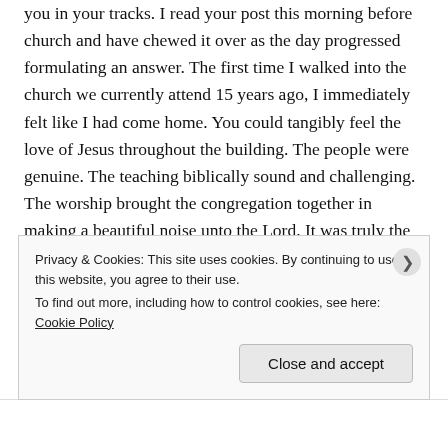you in your tracks. I read your post this morning before church and have chewed it over as the day progressed formulating an answer. The first time I walked into the church we currently attend 15 years ago, I immediately felt like I had come home. You could tangibly feel the love of Jesus throughout the building. The people were genuine. The teaching biblically sound and challenging. The worship brought the congregation together in making a beautiful noise unto the Lord. It was truly the body of Christ. I left on a Sunday morning refreshed and ready to tackle a new week. Sadly most of that has been lost over the last 5 years. The focus shifted to performance and improving image so to increase attendance. Although the teaching is
Privacy & Cookies: This site uses cookies. By continuing to use this website, you agree to their use.
To find out more, including how to control cookies, see here: Cookie Policy
Close and accept